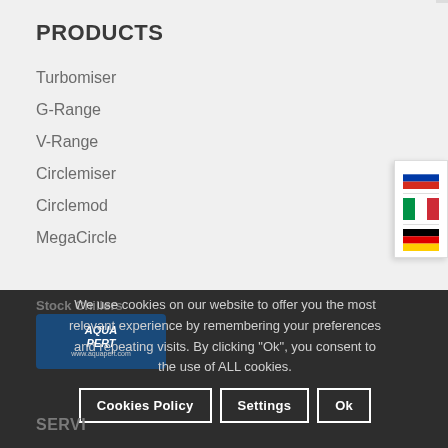PRODUCTS
Turbomiser
G-Range
V-Range
Circlemiser
Circlemod
MegaCircle
Stock Chillers
[Figure (logo): Company logo with stylized text]
We use cookies on our website to offer you the most relevant experience by remembering your preferences and repeating visits. By clicking "Ok", you consent to the use of ALL cookies.
Cookies Policy  Settings  Ok
SERVI... U P...